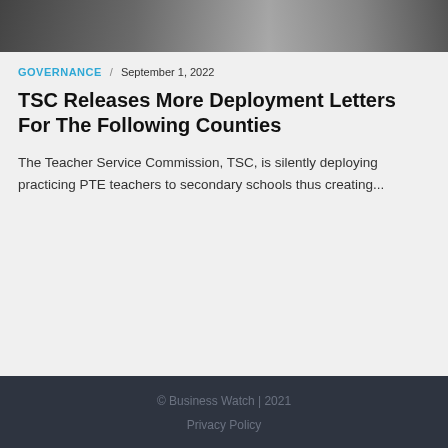[Figure (photo): Partial view of people, cropped at top of page]
GOVERNANCE / September 1, 2022
TSC Releases More Deployment Letters For The Following Counties
The Teacher Service Commission, TSC, is silently deploying practicing PTE teachers to secondary schools thus creating...
© Business Watch | 2021
Privacy Policy